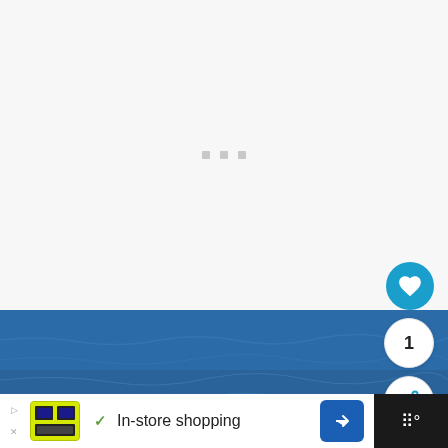[Figure (screenshot): Loading spinner / placeholder area with three small grey dots centered in a light grey background]
[Figure (photo): Close-up photo of a boat bow on blue water, white boat hull with blue trim rope, shot from above looking forward]
WHAT'S NEXT → TRAC Anchor Winch – 6…
✓ In-store shopping
1